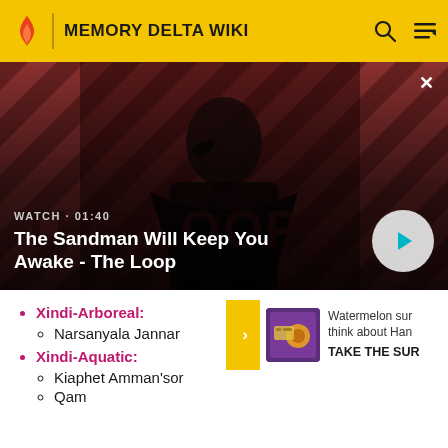MEMORY DELTA WIKI
[Figure (screenshot): Video banner showing a dark figure in a black cloak with a raven, against a striped red/dark background. Title card 'The Sandman Will Keep You Awake - The Loop' with watch time 01:40 and a play button.]
Xindi-Arboreal:
Narsanyala Jannar
Xindi-Aquatic:
Kiaphet Amman'sor
Qam
[Figure (screenshot): Side widget with yellow arrow and thumbnail for a survey: 'Watermelon survey - think about Han... TAKE THE SUR...']